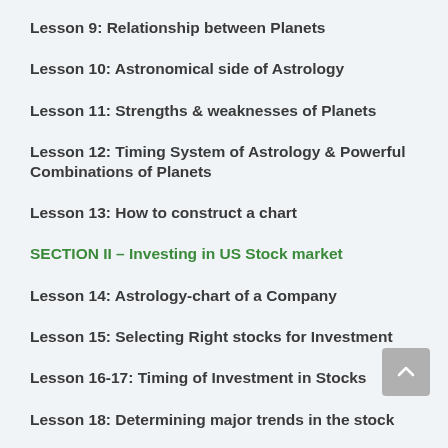Lesson 9: Relationship between Planets
Lesson 10: Astronomical side of Astrology
Lesson 11: Strengths & weaknesses of Planets
Lesson 12: Timing System of Astrology & Powerful Combinations of Planets
Lesson 13: How to construct a chart
SECTION II – Investing in US Stock market
Lesson 14: Astrology-chart of a Company
Lesson 15: Selecting Right stocks for Investment
Lesson 16-17: Timing of Investment in Stocks
Lesson 18: Determining major trends in the stock